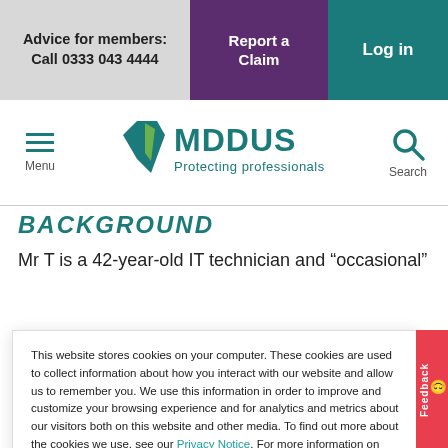Advice for members: Call 0333 043 4444 | Report a Claim | Log in
[Figure (logo): MDDUS logo with teal shield and text 'MDDUS Protecting professionals', with hamburger menu icon and search icon]
BACKGROUND
Mr T is a 42-year-old IT technician and "occasional"
This website stores cookies on your computer. These cookies are used to collect information about how you interact with our website and allow us to remember you. We use this information in order to improve and customize your browsing experience and for analytics and metrics about our visitors both on this website and other media. To find out more about the cookies we use, see our Privacy Notice. For more information on cookies and how to manage, delete and disable them please visit https://www.allaboutcookies.org/
Accept